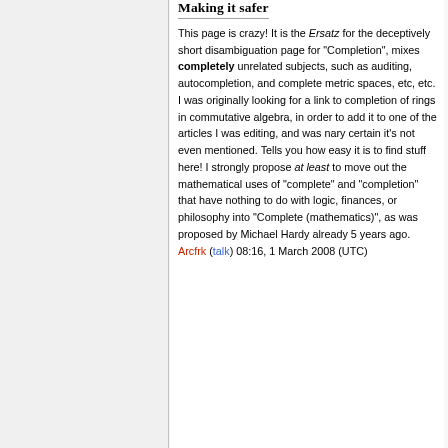Making it safer
This page is crazy! It is the Ersatz for the deceptively short disambiguation page for "Completion", mixes completely unrelated subjects, such as auditing, autocompletion, and complete metric spaces, etc, etc. I was originally looking for a link to completion of rings in commutative algebra, in order to add it to one of the articles I was editing, and was nary certain it's not even mentioned. Tells you how easy it is to find stuff here! I strongly propose at least to move out the mathematical uses of "complete" and "completion" that have nothing to do with logic, finances, or philosophy into "Complete (mathematics)", as was proposed by Michael Hardy already 5 years ago. Arcfrk (talk) 08:16, 1 March 2008 (UTC)